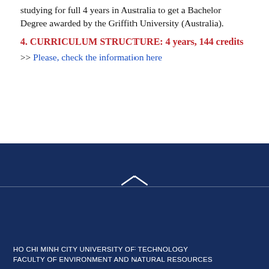studying for full 4 years in Australia to get a Bachelor Degree awarded by the Griffith University (Australia).
4. CURRICULUM STRUCTURE: 4 years, 144 credits
>> Please, check the information here
HO CHI MINH CITY UNIVERSITY OF TECHNOLOGY
FACULTY OF ENVIRONMENT AND NATURAL RESOURCES